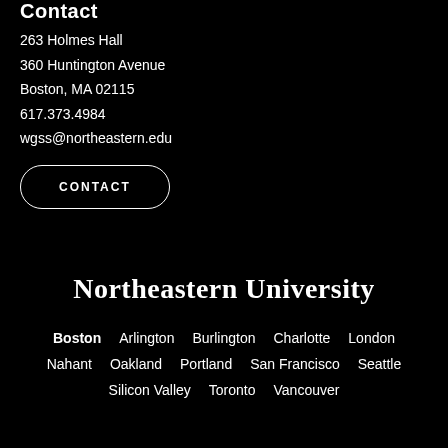Contact
263 Holmes Hall
360 Huntington Avenue
Boston, MA 02115
617.373.4984
wgss@northeastern.edu
CONTACT
Northeastern University
Boston  Arlington  Burlington  Charlotte  London  Nahant  Oakland  Portland  San Francisco  Seattle  Silicon Valley  Toronto  Vancouver